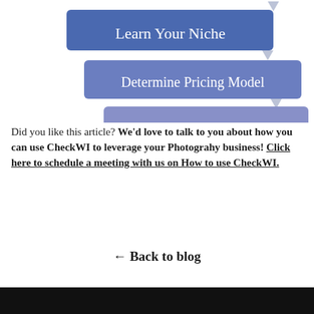[Figure (flowchart): A stepped flowchart with three blue/purple rounded rectangle boxes connected by downward arrows, each box indented further right: 1) Learn Your Niche, 2) Determine Pricing Model, 3) Self Analysis and Critique]
Did you like this article? We'd love to talk to you about how you can use CheckWI to leverage your Photograhy business! Click here to schedule a meeting with us on How to use CheckWI.
← Back to blog